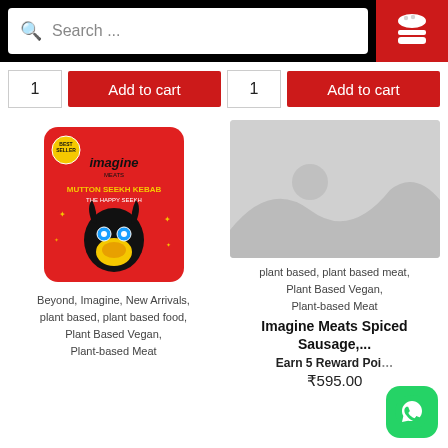[Figure (screenshot): Search bar with magnifying glass icon and text 'Search ...' on white background, with a red hamburger menu button on the right]
1  Add to cart  |  1  Add to cart
[Figure (photo): Imagine Meats Mutton Seekh Kebab product package — red pouch with goat mascot wearing sunglasses]
Beyond, Imagine, New Arrivals, plant based, plant based food, Plant Based Vegan, Plant-based Meat
[Figure (photo): Placeholder image (gray mountains/landscape icon)]
plant based, plant based meat, Plant Based Vegan, Plant-based Meat
Imagine Meats Spiced Sausage,...
Earn 5 Reward Points
₹595.00